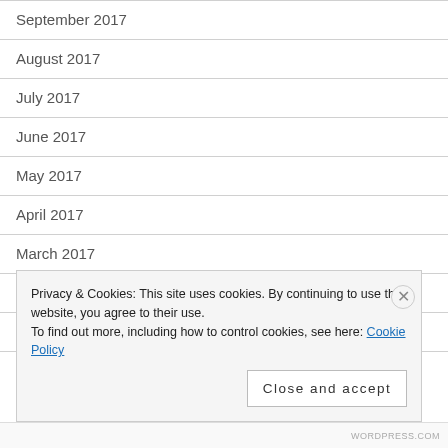September 2017
August 2017
July 2017
June 2017
May 2017
April 2017
March 2017
February 2017
January 2017
Privacy & Cookies: This site uses cookies. By continuing to use this website, you agree to their use. To find out more, including how to control cookies, see here: Cookie Policy
Close and accept
WORDPRESS.COM